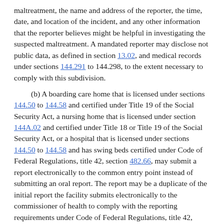maltreatment, the name and address of the reporter, the time, date, and location of the incident, and any other information that the reporter believes might be helpful in investigating the suspected maltreatment. A mandated reporter may disclose not public data, as defined in section 13.02, and medical records under sections 144.291 to 144.298, to the extent necessary to comply with this subdivision.
(b) A boarding care home that is licensed under sections 144.50 to 144.58 and certified under Title 19 of the Social Security Act, a nursing home that is licensed under section 144A.02 and certified under Title 18 or Title 19 of the Social Security Act, or a hospital that is licensed under sections 144.50 to 144.58 and has swing beds certified under Code of Federal Regulations, title 42, section 482.66, may submit a report electronically to the common entry point instead of submitting an oral report. The report may be a duplicate of the initial report the facility submits electronically to the commissioner of health to comply with the reporting requirements under Code of Federal Regulations, title 42, section 483.13. The commissioner of health may modify these reporting requirements to include items required under paragraph (a) that are not currently included in the electronic